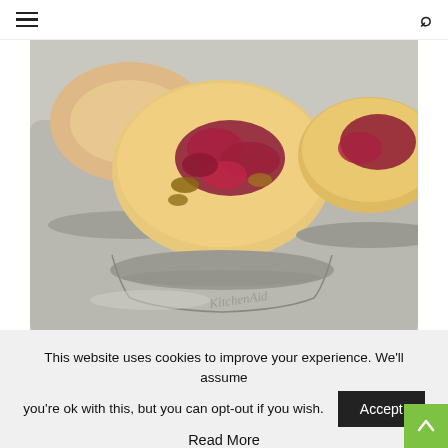≡   𝗐𝗐𝗐.𝖽𝗂𝖺𝖻𝖾𝗍𝖾𝗌𝖽𝖺𝗂𝗅𝗒.𝖼𝗈𝗆   🔍
[Figure (photo): Close-up photograph of baked cranberry muffins in a KitchenAid metal muffin tin. The muffins are golden-brown with visible cranberry/berry filling and nuts on top. Two large muffins are prominently visible in muffin cups, plus partial view of a third. Below the photo is a dark maroon/burgundy banner with white text reading WWW.DIABETESDAILY.COM]
This website uses cookies to improve your experience. We'll assume you're ok with this, but you can opt-out if you wish.
Accept
Read More